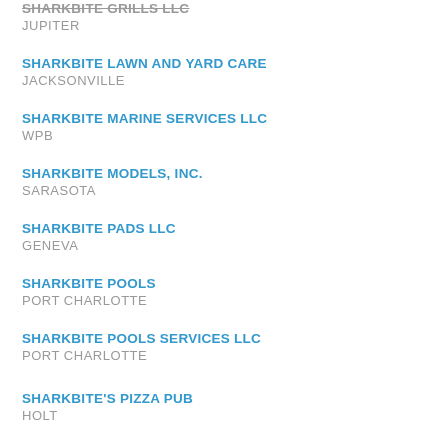SHARKBITE GRILLS LLC
JUPITER
SHARKBITE LAWN AND YARD CARE
JACKSONVILLE
SHARKBITE MARINE SERVICES LLC
WPB
SHARKBITE MODELS, INC.
SARASOTA
SHARKBITE PADS LLC
GENEVA
SHARKBITE POOLS
PORT CHARLOTTE
SHARKBITE POOLS SERVICES LLC
PORT CHARLOTTE
SHARKBITE'S PIZZA PUB
HOLT